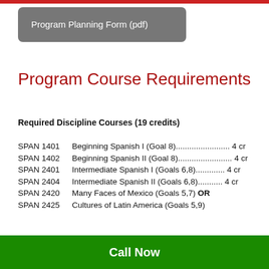[Figure (other): Red horizontal bar at top of page]
Program Planning Form (pdf)
Program Course Requirements
Required Discipline Courses (19 credits)
SPAN 1401    Beginning Spanish I (Goal 8)........................ 4 cr
SPAN 1402    Beginning Spanish II (Goal 8)........................ 4 cr
SPAN 2401    Intermediate Spanish I (Goals 6,8)............. 4 cr
SPAN 2404    Intermediate Spanish II (Goals 6,8)........... 4 cr
SPAN 2420    Many Faces of Mexico (Goals 5,7) OR
SPAN 2425    Cultures of Latin America (Goals 5,9)
Call Now